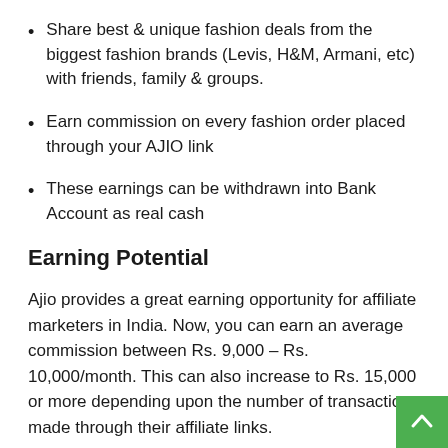Share best & unique fashion deals from the biggest fashion brands (Levis, H&M, Armani, etc) with friends, family & groups.
Earn commission on every fashion order placed through your AJIO link
These earnings can be withdrawn into Bank Account as real cash
Earning Potential
Ajio provides a great earning opportunity for affiliate marketers in India. Now, you can earn an average commission between Rs. 9,000 – Rs. 10,000/month. This can also increase to Rs. 15,000 or more depending upon the number of transactions made through their affiliate links.